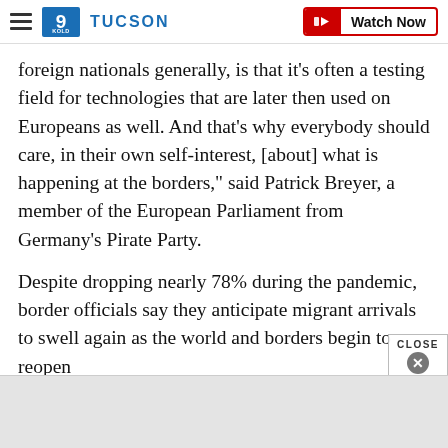9 TUCSON | Watch Now
foreign nationals generally, is that it's often a testing field for technologies that are later then used on Europeans as well. And that's why everybody should care, in their own self-interest, [about] what is happening at the borders," said Patrick Breyer, a member of the European Parliament from Germany's Pirate Party.
Despite dropping nearly 78% during the pandemic, border officials say they anticipate migrant arrivals to swell again as the world and borders begin to reopen